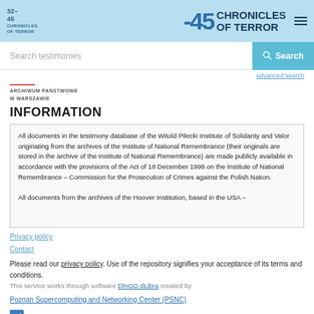32-45 CHRONICLES OF TERROR
Search testimonies
advanced search
ARCHIWUM PAŃSTWOWE W WARSZAWIE
INFORMATION
All documents in the testimony database of the Witold Pilecki Institute of Solidarity and Valor originating from the archives of the Institute of National Remembrance (their originals are stored in the archive of the Institute of National Remembrance) are made publicly available in accordance with the provisions of the Act of 18 December 1998 on the Institute of National Remembrance – Commission for the Prosecution of Crimes against the Polish Nation.

All documents from the archives of the Hoover Institution, based in the USA –
Please read our privacy policy. Use of the repository signifies your acceptance of its terms and conditions.
This service works through software DlnGO dLibra created by
Poznan Supercomputing and Networking Center (PSNC)
I understand and accept
GO TO PAGE